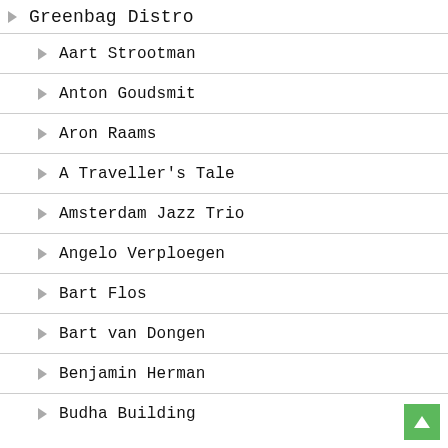Greenbag Distro
Aart Strootman
Anton Goudsmit
Aron Raams
A Traveller's Tale
Amsterdam Jazz Trio
Angelo Verploegen
Bart Flos
Bart van Dongen
Benjamin Herman
Budha Building